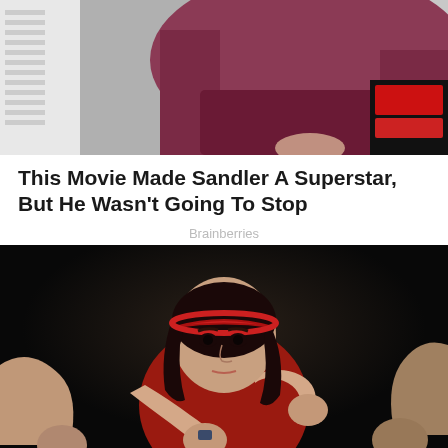[Figure (photo): Top portion of a person wearing a red/maroon hoodie standing near a car with red tail lights visible on the right side]
This Movie Made Sandler A Superstar, But He Wasn't Going To Stop
Brainberries
[Figure (photo): A young girl in a red top with a red headband in a fighting/boxing stance with fists raised, set against a very dark background, with adult arms visible on either side of her]